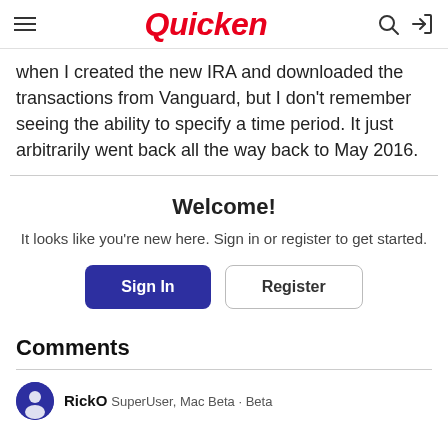Quicken
when I created the new IRA and downloaded the transactions from Vanguard, but I don't remember seeing the ability to specify a time period.  It just arbitrarily went back all the way back to May 2016.
Welcome!
It looks like you're new here. Sign in or register to get started.
Sign In  Register
Comments
RickO  SuperUser, Mac Beta  Beta